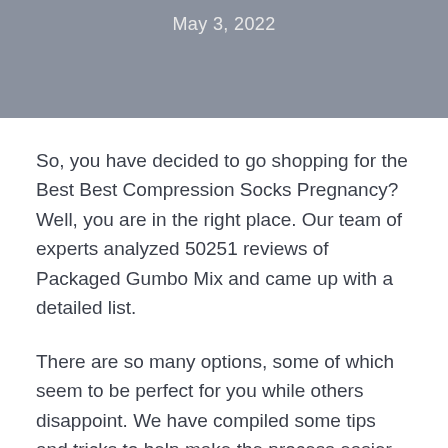May 3, 2022
So, you have decided to go shopping for the Best Best Compression Socks Pregnancy? Well, you are in the right place. Our team of experts analyzed 50251 reviews of Packaged Gumbo Mix and came up with a detailed list.
There are so many options, some of which seem to be perfect for you while others disappoint. We have compiled some tips and tricks to help make the process easier and more successful.